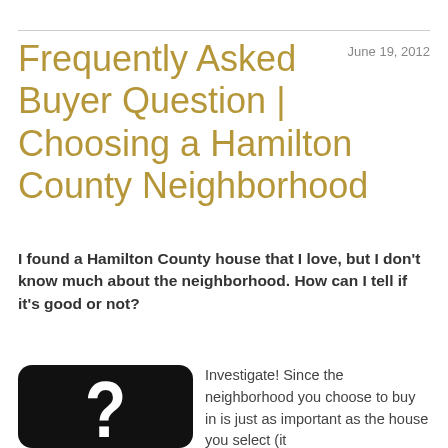Frequently Asked Buyer Question | Choosing a Hamilton County Neighborhood
June 19, 2012
I found a Hamilton County house that I love, but I don't know much about the neighborhood. How can I tell if it's good or not?
[Figure (illustration): Black rounded square with a large white question mark]
Investigate! Since the neighborhood you choose to buy in is just as important as the house you select (it